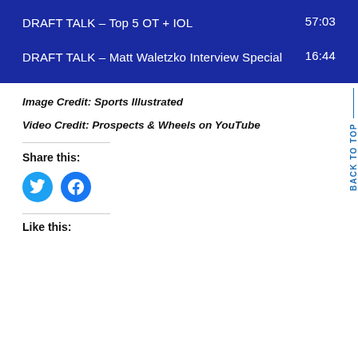[Figure (screenshot): Dark blue video playlist box showing two entries: 'DRAFT TALK - Top 5 OT + IOL' with duration 57:03, and 'DRAFT TALK - Matt Waletzko Interview Special' with duration 16:44]
Image Credit: Sports Illustrated
Video Credit: Prospects & Wheels on YouTube
Share this:
[Figure (illustration): Twitter and Facebook social share icon circles]
Like this: